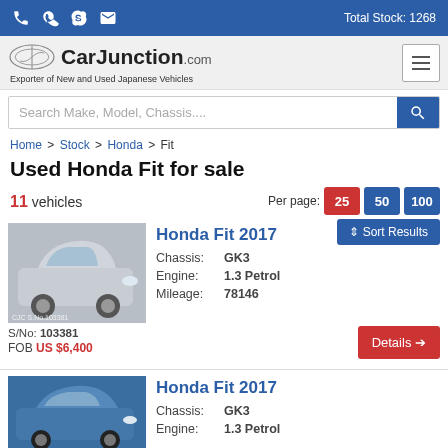Total Stock: 1268
[Figure (logo): CarJunction.com logo with car emblem, tagline: Exporter of New and Used Japanese Vehicles]
Search Make, Model, Chassis....
Home > Stock > Honda > Fit
Used Honda Fit for sale
11 vehicles
Per page: 25 50 100
Sort Results
[Figure (photo): Silver Honda Fit 2017, side/front view, stock photo with watermark CJC S.No.103381]
S/No: 103381
FOB US $6,400
Honda Fit 2017
Chassis: GK3
Engine: 1.3 Petrol
Mileage: 78146
[Figure (photo): Blue Honda Fit 2017, front/side view]
Honda Fit 2017
Chassis: GK3
Engine: 1.3 Petrol